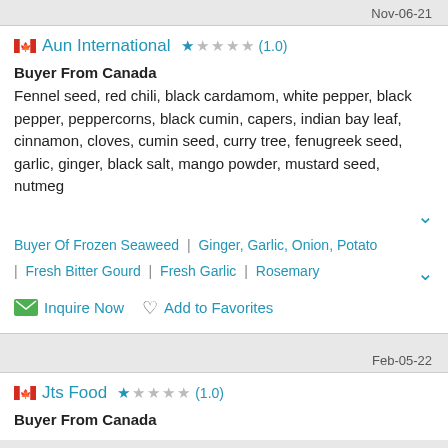Nov-06-21
🇨🇦 Aun International ★☆☆☆☆ (1.0)
Buyer From Canada
Fennel seed, red chili, black cardamom, white pepper, black pepper, peppercorns, black cumin, capers, indian bay leaf, cinnamon, cloves, cumin seed, curry tree, fenugreek seed, garlic, ginger, black salt, mango powder, mustard seed, nutmeg
Buyer Of Frozen Seaweed | Ginger, Garlic, Onion, Potato | Fresh Bitter Gourd | Fresh Garlic | Rosemary
Inquire Now  Add to Favorites
Feb-05-22
🇨🇦 Jts Food ★☆☆☆☆ (1.0)
Buyer From Canada